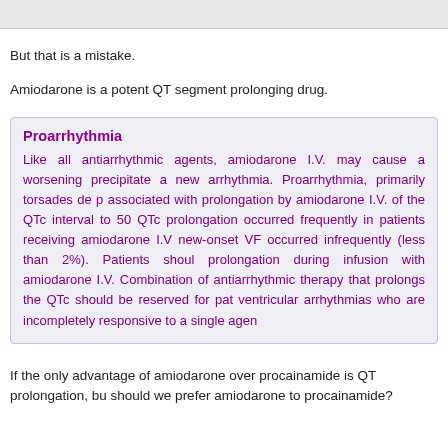But that is a mistake.
Amiodarone is a potent QT segment prolonging drug.
Proarrhythmia
Like all antiarrhythmic agents, amiodarone I.V. may cause a worsening precipitate a new arrhythmia. Proarrhythmia, primarily torsades de p associated with prolongation by amiodarone I.V. of the QTc interval to 50 QTc prolongation occurred frequently in patients receiving amiodarone I.V new-onset VF occurred infrequently (less than 2%). Patients shoul prolongation during infusion with amiodarone I.V. Combination of antiarrhythmic therapy that prolongs the QTc should be reserved for pat ventricular arrhythmias who are incompletely responsive to a single agen
If the only advantage of amiodarone over procainamide is QT prolongation, bu should we prefer amiodarone to procainamide?